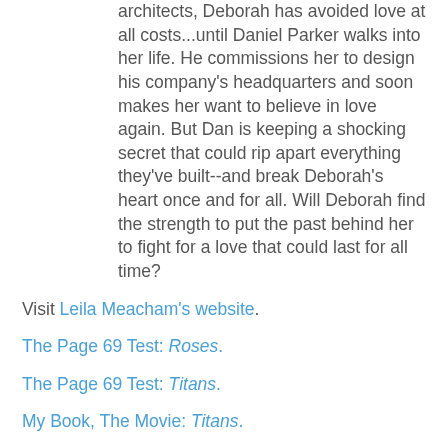architects, Deborah has avoided love at all costs...until Daniel Parker walks into her life. He commissions her to design his company's headquarters and soon makes her want to believe in love again. But Dan is keeping a shocking secret that could rip apart everything they've built--and break Deborah's heart once and for all. Will Deborah find the strength to put the past behind her to fight for a love that could last for all time?
Visit Leila Meacham's website.
The Page 69 Test: Roses.
The Page 69 Test: Titans.
My Book, The Movie: Titans.
Writers Read: Leila Meacham (April 2016).
--Marshal Zeringue